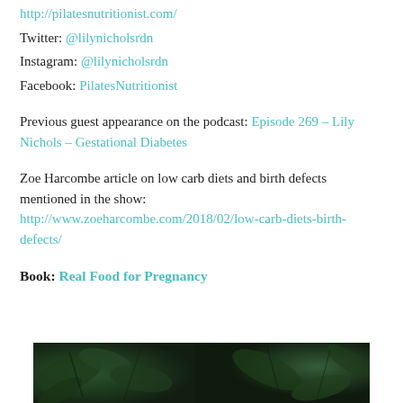http://pilatesnutritionist.com/
Twitter: @lilynicholsrdn
Instagram: @lilynicholsrdn
Facebook: PilatesNutritionist
Previous guest appearance on the podcast: Episode 269 – Lily Nichols – Gestational Diabetes
Zoe Harcombe article on low carb diets and birth defects mentioned in the show: http://www.zoeharcombe.com/2018/02/low-carb-diets-birth-defects/
Book: Real Food for Pregnancy
[Figure (photo): Dark overhead photo of green leafy vegetables and herbs on a dark background]